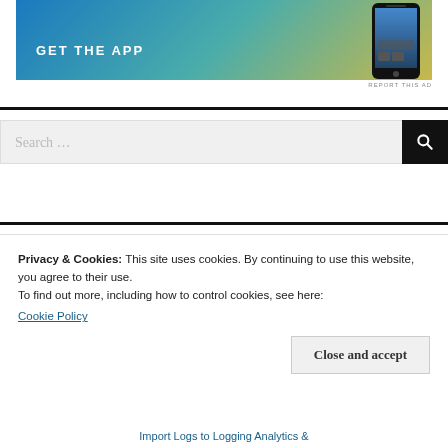[Figure (illustration): Mobile app advertisement banner with gradient background (blue to teal to yellow), text 'GET THE APP' in white bold letters, and a smartphone image on the right.]
REPORT THIS AD
Search ...
Privacy & Cookies: This site uses cookies. By continuing to use this website, you agree to their use.
To find out more, including how to control cookies, see here:
Cookie Policy
Close and accept
Import Logs to Logging Analytics &